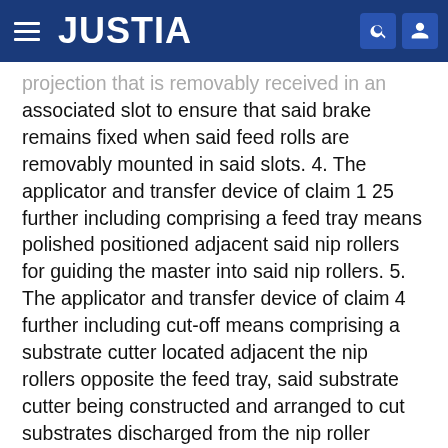JUSTIA
projection that is removably received in an associated slot to ensure that said brake remains fixed when said feed rolls are removably mounted in said slots. 4. The applicator and transfer device of claim 1 25 further including comprising a feed tray means polished positioned adjacent said nip rollers for guiding the master into said nip rollers. 5. The applicator and transfer device of claim 4 further including cut-off means comprising a substrate cutter located adjacent the nip rollers opposite the feed tray, said substrate cutter being constructed and arranged to cut substrates discharged from the nip roller assembly. 6. The applicator and transfer device of claim 1 25 wherein the axis of said nip rollers are have parallel to one another axes and wherein the axis of one of said nip rollers is horizontally displaced relative to